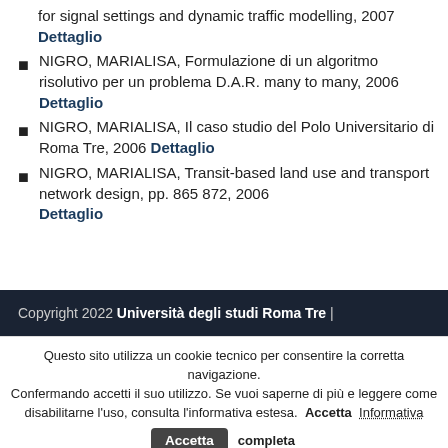for signal settings and dynamic traffic modelling, 2007 Dettaglio
NIGRO, MARIALISA, Formulazione di un algoritmo risolutivo per un problema D.A.R. many to many, 2006 Dettaglio
NIGRO, MARIALISA, Il caso studio del Polo Universitario di Roma Tre, 2006 Dettaglio
NIGRO, MARIALISA, Transit-based land use and transport network design, pp. 865 872, 2006 Dettaglio
Copyright 2022 Università degli studi Roma Tre |
Questo sito utilizza un cookie tecnico per consentire la corretta navigazione. Confermando accetti il suo utilizzo. Se vuoi saperne di più e leggere come disabilitarne l'uso, consulta l'informativa estesa.